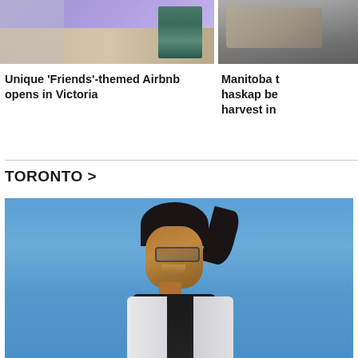[Figure (photo): Photo of a Friends-themed Airbnb room in Victoria with couch and bookshelf]
Unique 'Friends'-themed Airbnb opens in Victoria
[Figure (photo): Partial photo of a Manitoba haskap berry harvest story]
Manitoba t haskap be harvest in
TORONTO >
[Figure (photo): Photo of a young woman with sunglasses and dark hair against a blue sky, wearing a white vest and black top in Toronto]